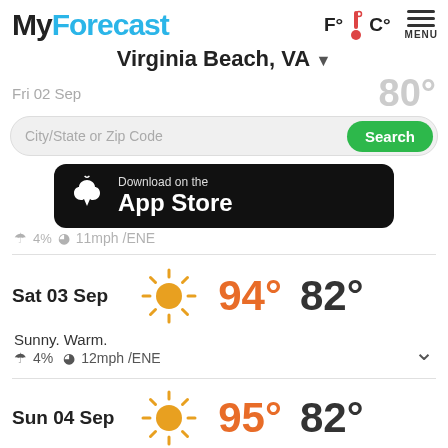MyForecast
F° C°
MENU
Virginia Beach, VA ▼
Fri 02 Sep
80°
City/State or Zip Code
Search
[Figure (screenshot): Download on the App Store banner]
Sunny. Warm.
☂ 4%  ⊙ 11mph /ENE
Sat 03 Sep
[Figure (illustration): Sun icon for Saturday forecast]
94°
82°
Sunny. Warm.
☂ 4%  ⊙ 12mph /ENE
Sun 04 Sep
95°
82°